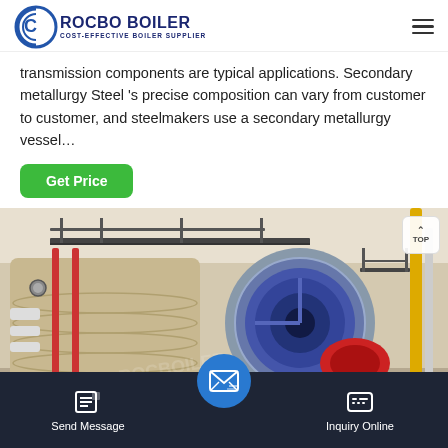ROCBO BOILER — COST-EFFECTIVE BOILER SUPPLIER
transmission components are typical applications. Secondary metallurgy Steel 's precise composition can vary from customer to customer, and steelmakers use a secondary metallurgy vessel…
Get Price
[Figure (photo): Industrial boiler room interior showing large cylindrical boilers with red and white pipes, metal walkways, and a circular burner assembly]
Send Message
Inquiry Online